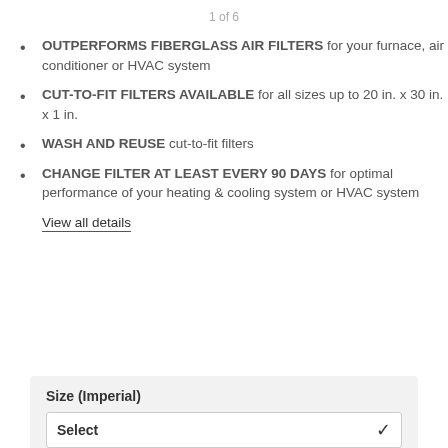1 of 6
OUTPERFORMS FIBERGLASS AIR FILTERS for your furnace, air conditioner or HVAC system
CUT-TO-FIT FILTERS AVAILABLE for all sizes up to 20 in. x 30 in. x 1 in.
WASH AND REUSE cut-to-fit filters
CHANGE FILTER AT LEAST EVERY 90 DAYS for optimal performance of your heating & cooling system or HVAC system
View all details
Size (Imperial)
Select